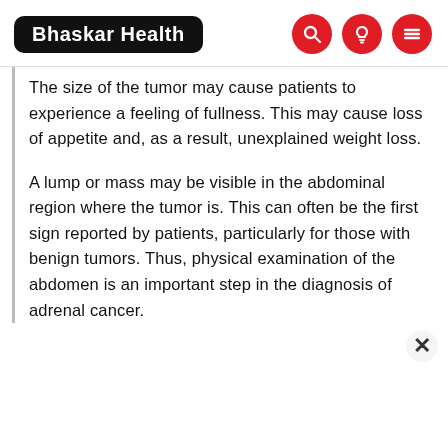Bhaskar Health
The size of the tumor may cause patients to experience a feeling of fullness. This may cause loss of appetite and, as a result, unexplained weight loss.
A lump or mass may be visible in the abdominal region where the tumor is. This can often be the first sign reported by patients, particularly for those with benign tumors. Thus, physical examination of the abdomen is an important step in the diagnosis of adrenal cancer.